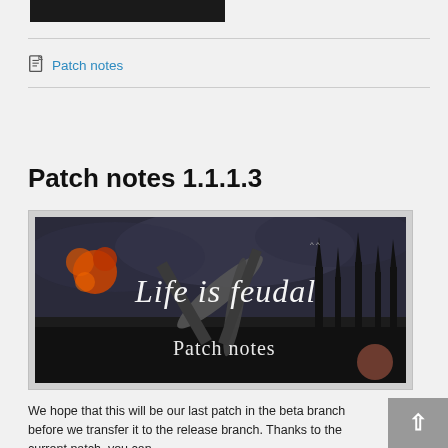[Figure (photo): Partial cropped black image at top of page]
Patch notes
Patch notes 1.1.1.3
[Figure (photo): Life is Feudal game banner image with text 'Life is feudal Patch notes' on dark fantasy background with tools/hammer and foliage]
We hope that this will be our last patch in the beta branch before we transfer it to the release branch. Thanks to the current patch, you can